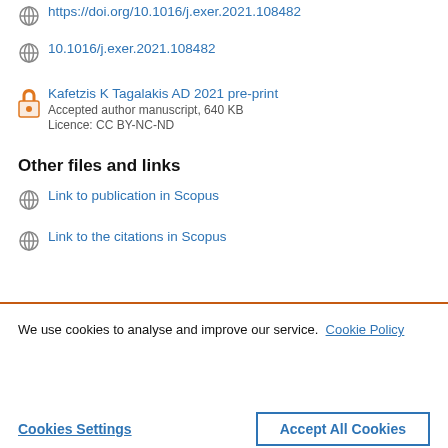https://doi.org/10.1016/j.exer.2021.108482
10.1016/j.exer.2021.108482
Kafetzis K Tagalakis AD 2021 pre-print
Accepted author manuscript, 640 KB
Licence: CC BY-NC-ND
Other files and links
Link to publication in Scopus
Link to the citations in Scopus
We use cookies to analyse and improve our service. Cookie Policy
Cookies Settings
Accept All Cookies